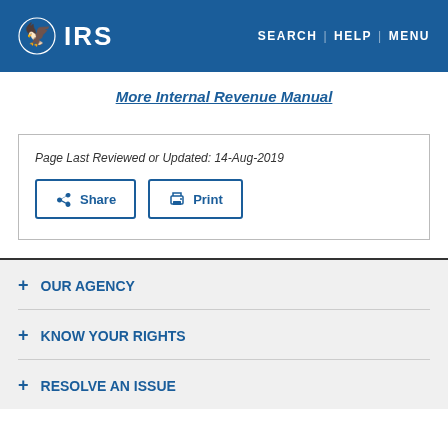IRS | SEARCH | HELP | MENU
More Internal Revenue Manual
Page Last Reviewed or Updated: 14-Aug-2019
Share   Print
+ OUR AGENCY
+ KNOW YOUR RIGHTS
+ RESOLVE AN ISSUE